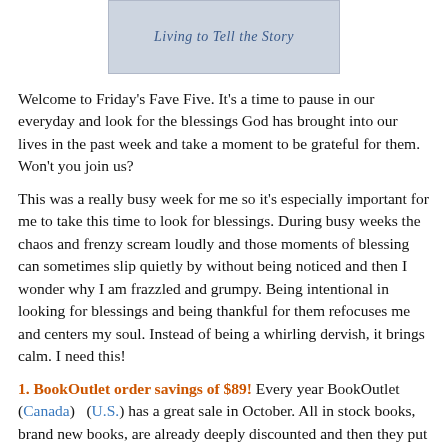[Figure (illustration): Book cover image showing italic text 'Living to Tell the Story' on a light grey/blue background]
Welcome to Friday's Fave Five.  It's a time to pause in our everyday and look for the blessings God has brought into our lives in the past week and take a moment to be grateful for them.  Won't you join us?
This was a really busy week for me so it's especially important for me to take this time to look for blessings.  During busy weeks the chaos and frenzy scream loudly and those moments of blessing can sometimes slip quietly by without being noticed and then I wonder why I am frazzled and grumpy.  Being intentional in looking for blessings and being thankful for them refocuses me and centers my soul.  Instead of being a whirling dervish, it brings calm.  I need this!
1.  BookOutlet order savings of $89! Every year BookOutlet (Canada)   (U.S.) has a great sale in October.  All in stock books, brand new books, are already deeply discounted and then they put them on sale for another 15%